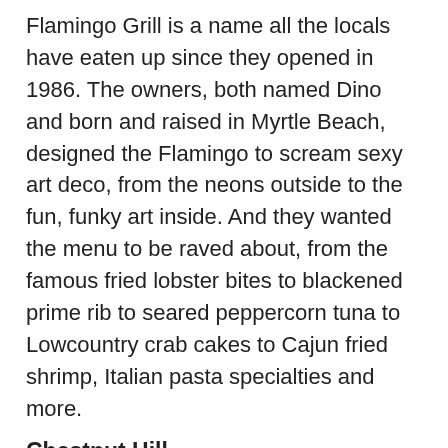Flamingo Grill is a name all the locals have eaten up since they opened in 1986. The owners, both named Dino and born and raised in Myrtle Beach, designed the Flamingo to scream sexy art deco, from the neons outside to the fun, funky art inside. And they wanted the menu to be raved about, from the famous fried lobster bites to blackened prime rib to seared peppercorn tuna to Lowcountry crab cakes to Cajun fried shrimp, Italian pasta specialties and more.
Chestnut Hill
9922 North Kings Highway, Myrtle Beach,
(843) 449-3984
chestnuthilldining.com
For more than 30 years, Chestnut Hill has proudly stood along Restaurant Row on the north end, strong and steadfast even through the pandemic. Even though, because of that, they've slimmed down their menu choices, they never slighted the high quality of seafood and steak offerings. You can't go wrong with the Hill's Bacon-Wrapped